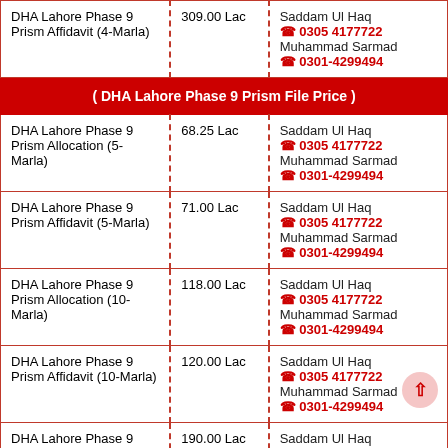| Property | Price | Contact |
| --- | --- | --- |
| DHA Lahore Phase 9 Prism Affidavit (4-Marla) | 309.00 Lac | Saddam Ul Haq
📞 0305 4177722
Muhammad Sarmad
📞 0301-4299494 |
| ( DHA Lahore Phase 9 Prism File Price ) |  |  |
| DHA Lahore Phase 9 Prism Allocation (5-Marla) | 68.25 Lac | Saddam Ul Haq
📞 0305 4177722
Muhammad Sarmad
📞 0301-4299494 |
| DHA Lahore Phase 9 Prism Affidavit (5-Marla) | 71.00 Lac | Saddam Ul Haq
📞 0305 4177722
Muhammad Sarmad
📞 0301-4299494 |
| DHA Lahore Phase 9 Prism Allocation (10-Marla) | 118.00 Lac | Saddam Ul Haq
📞 0305 4177722
Muhammad Sarmad
📞 0301-4299494 |
| DHA Lahore Phase 9 Prism Affidavit (10-Marla) | 120.00 Lac | Saddam Ul Haq
📞 0305 4177722
Muhammad Sarmad
📞 0301-4299494 |
| DHA Lahore Phase 9 Prism Allocation (1-Kanal) | 190.00 Lac | Saddam Ul Haq
📞 0305 4177722
Muhammad Sarmad
📞 0301-4299494 |
| DHA Lahore Phase 9 Prism Affidavit (1-Kanal) | 192.00 Lac | Saddam Ul Haq
📞 0305 4177722 |